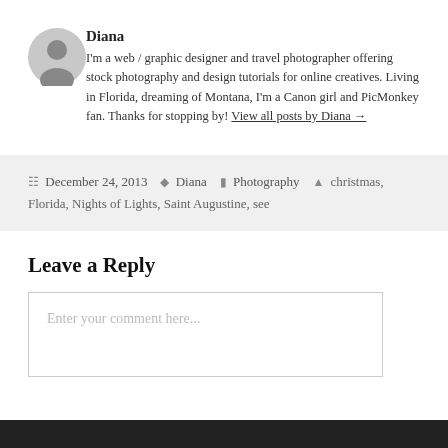[Figure (illustration): Circular gray user avatar icon silhouette]
Diana
I'm a web / graphic designer and travel photographer offering stock photography and design tutorials for online creatives. Living in Florida, dreaming of Montana, I'm a Canon girl and PicMonkey fan. Thanks for stopping by! View all posts by Diana →
December 24, 2013   Diana   Photography   christmas, Florida, Nights of Lights, Saint Augustine, see
Leave a Reply
Enter your comment here...